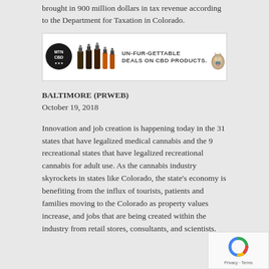brought in 900 million dollars in tax revenue according to the Department for Taxation in Colorado.
[Figure (illustration): Advertisement banner for MTN CBD showing CBD oil bottles and pet animals (cat, dog, rabbit) with text 'UN-FUR-GETTABLE DEALS ON CBD PRODUCTS.']
BALTIMORE (PRWEB)
October 19, 2018
Innovation and job creation is happening today in the 31 states that have legalized medical cannabis and the 9 recreational states that have legalized recreational cannabis for adult use. As the cannabis industry skyrockets in states like Colorado, the state's economy is benefiting from the influx of tourists, patients and families moving to the Colorado as property values increase, and jobs that are being created within the industry from retail stores, consultants, and scientists.